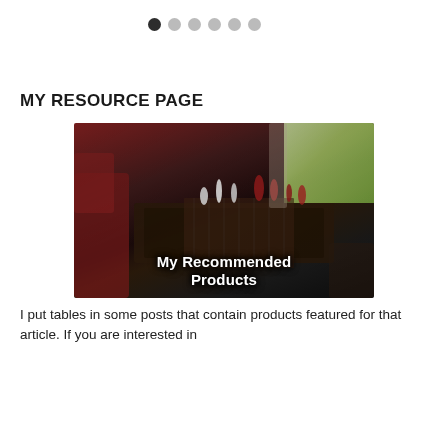[Figure (other): Row of six pagination dots; first dot is dark/active, remaining five are light gray]
MY RESOURCE PAGE
[Figure (photo): A chess set on a dark wooden table with red chairs visible and a window with greenery outside. Text overlay reads 'My Recommended Products']
I put tables in some posts that contain products featured for that article. If you are interested in